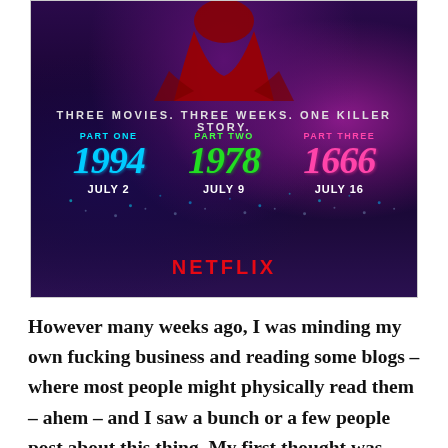[Figure (illustration): Netflix promotional image for Fear Street trilogy: 'THREE MOVIES. THREE WEEKS. ONE KILLER STORY.' showing Part One 1994 (July 2), Part Two 1978 (July 9), Part Three 1666 (July 16), with NETFLIX logo. Dark purple atmospheric background with red figure silhouette at top.]
However many weeks ago, I was minding my own fucking business and reading some blogs – where most people might physically read them – ahem – and I saw a bunch or a few people post about this thing. My first thought was – what the fuck is this